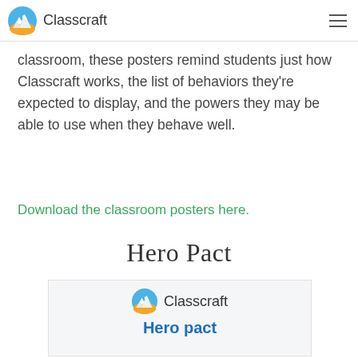Classcraft
classroom, these posters remind students just how Classcraft works, the list of behaviors they’re expected to display, and the powers they may be able to use when they behave well.
Download the classroom posters here.
Hero Pact
[Figure (screenshot): Preview of a Classcraft Hero Pact poster showing the Classcraft logo and the text 'Hero pact' in blue bold font on a light grey background.]